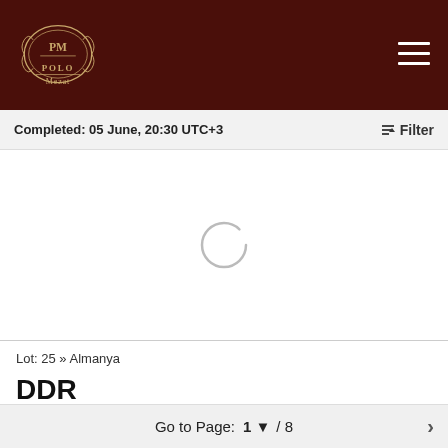POLO Mezat
Completed: 05 June, 20:30 UTC+3
[Figure (other): Loading spinner / empty image area with a circular loading indicator in the center]
Lot: 25 » Almanya
DDR
DAMGALI PUL LOTU KATALOG:400 TL
Go to Page: 1 / 8